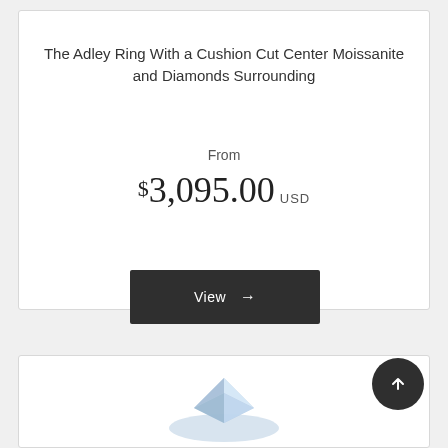The Adley Ring With a Cushion Cut Center Moissanite and Diamonds Surrounding
From
$3,095.00 USD
View →
[Figure (photo): Partial view of a ring product card at the bottom of the page]